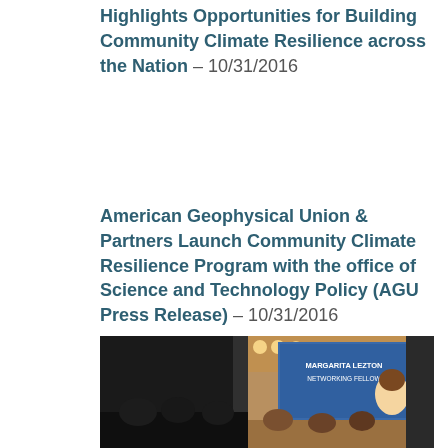Highlights Opportunities for Building Community Climate Resilience across the Nation – 10/31/2016
American Geophysical Union & Partners Launch Community Climate Resilience Program with the office of Science and Technology Policy (AGU Press Release) – 10/31/2016
AGU's TEX Program to Lead Climate Effort Launched by White House (AGU's Eos) – 10/31/2016
[Figure (photo): Photo of people at an event with a presentation screen showing text, partially visible. Dark curtain on the left side, warm ceiling lights visible.]